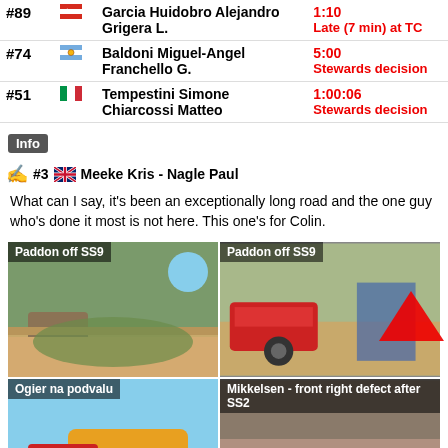| # | Flag | Driver/Co-driver | Penalty/Reason |
| --- | --- | --- | --- |
| #89 | CL | Garcia Huidobro Alejandro / Grigera L. | 1:10 / Late (7min) at TC |
| #74 | AR | Baldoni Miguel-Angel / Franchello G. | 5:00 / Stewards decision |
| #51 | IT | Tempestini Simone / Chiarcossi Matteo | 1:00:06 / Stewards decision |
Info
#3  Meeke Kris - Nagle Paul
What can I say, it's been an exceptionally long road and the one guy who's done it most is not here. This one's for Colin.
[Figure (photo): Paddon off SS9 - rally car off road scene, crowd watching]
[Figure (photo): Paddon off SS9 - damaged rally car with people around it]
[Figure (photo): Ogier na podvalu - rally car on flatbed truck]
[Figure (photo): Mikkelsen - front right defect after SS2 - flat tyre close up]